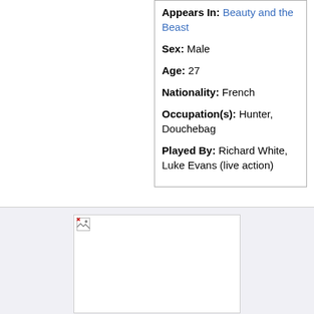| Name: | Gaston |
| Appears In: | Beauty and the Beast |
| Sex: | Male |
| Age: | 27 |
| Nationality: | French |
| Occupation(s): | Hunter, Douchebag |
| Played By: | Richard White, Luke Evans (live action) |
[Figure (photo): Broken image placeholder for a photo of Gaston]